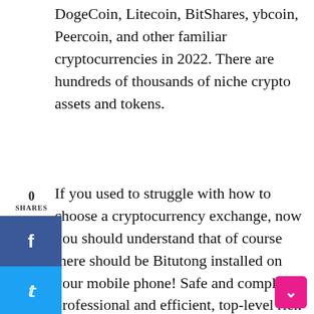DogeCoin, Litecoin, BitShares, ybcoin, Peercoin, and other familiar cryptocurrencies in 2022. There are hundreds of thousands of niche crypto assets and tokens.
If you used to struggle with how to choose a cryptocurrency exchange, now you should understand that of course there should be Bitutong installed on your mobile phone! Safe and compliant, professional and efficient, top-level rick control, flexible transactions, rich currency, and a large number of practical functions. Download and experience it now! In the future, Bitutong will continue to improve platform management, strengthen risk control measures, provide a higher level of service at a lower cost than many other platforms, and provide a fair, efficient, and participatory blockchain